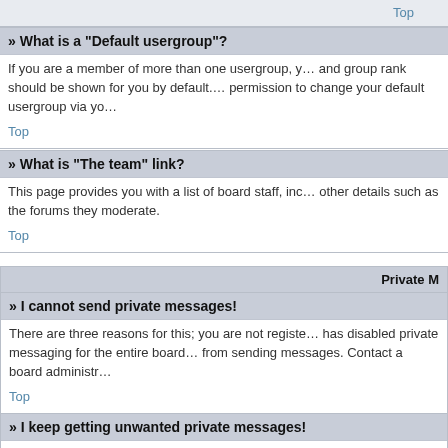Top
» What is a “Default usergroup”?
If you are a member of more than one usergroup, your default is used to determine which group colour and group rank should be shown for you by default. The board administrator may grant you permission to change your default usergroup via your User Control Panel.
Top
» What is “The team” link?
This page provides you with a list of board staff, including board administrators and moderators and other details such as the forums they moderate.
Top
Private M
» I cannot send private messages!
There are three reasons for this; you are not registered and/or not logged on, the board administrator has disabled private messaging for the entire board, or the board administrator has prevented you from sending messages. Contact a board administrator for more information.
Top
» I keep getting unwanted private messages!
You can block a user from sending you private messages by using message rules within your User Control Panel. If you are receiving abusive private messages from a particular user, report it to the board administrator; they have the power to prevent a user from sending private messages.
Top